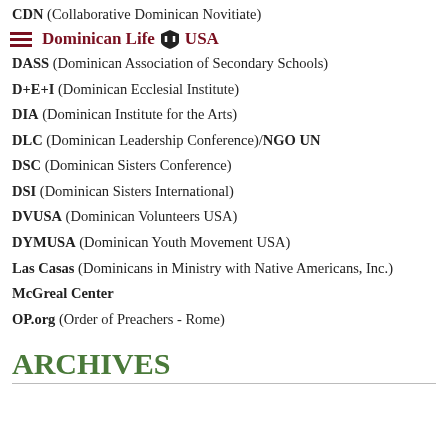CDN (Collaborative Dominican Novitiate) | Dominican Life USA
CDN (Collaborative Dominican Novitiate)
DASS (Dominican Association of Secondary Schools)
D+E+I (Dominican Ecclesial Institute)
DIA (Dominican Institute for the Arts)
DLC (Dominican Leadership Conference)/NGO UN
DSC (Dominican Sisters Conference)
DSI (Dominican Sisters International)
DVUSA (Dominican Volunteers USA)
DYMUSA (Dominican Youth Movement USA)
Las Casas (Dominicans in Ministry with Native Americans, Inc.)
McGreal Center
OP.org (Order of Preachers - Rome)
ARCHIVES